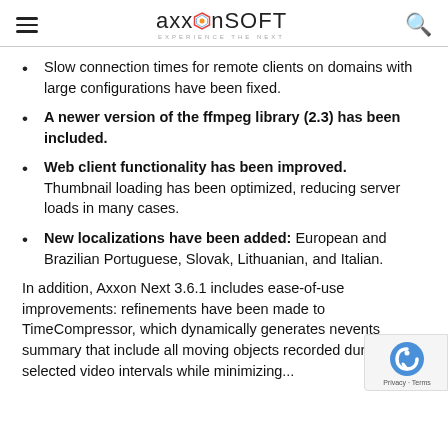AxxonSoft — Experience the Next
Slow connection times for remote clients on domains with large configurations have been fixed.
A newer version of the ffmpeg library (2.3) has been included.
Web client functionality has been improved. Thumbnail loading has been optimized, reducing server loads in many cases.
New localizations have been added: European and Brazilian Portuguese, Slovak, Lithuanian, and Italian.
In addition, Axxon Next 3.6.1 includes ease-of-use improvements: refinements have been made to TimeCompressor, which dynamically generates n... events summary that include all moving objects recorded during selected video intervals while minimizing...